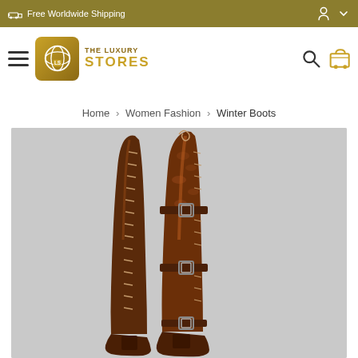Free Worldwide Shipping
[Figure (logo): The Luxury Stores logo with golden icon and text]
Home › Women Fashion › Winter Boots
[Figure (photo): Pair of brown patent leather over-the-knee lace-up boots with buckle straps, displayed against a light grey background]